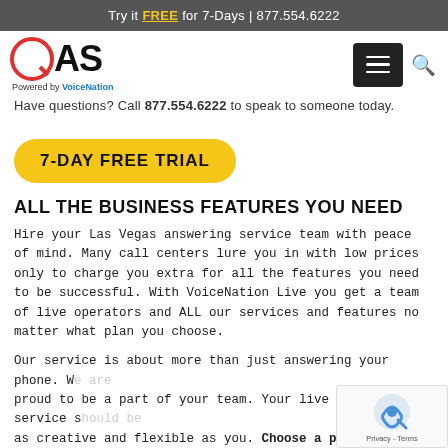Try it FREE for 7-Days | 877.554.6222
[Figure (logo): QAS logo with red Q circle and black AS text, Powered by VoiceNation tagline below]
Have questions? Call 877.554.6222 to speak to someone today.
7-DAY FREE TRIAL (button)
ALL THE BUSINESS FEATURES YOU NEED
Hire your Las Vegas answering service team with peace of mind. Many call centers lure you in with low prices only to charge you extra for all the features you need to be successful. With VoiceNation Live you get a team of live operators and ALL our services and features no matter what plan you choose.
Our service is about more than just answering your phone. We are proud to be a part of your team. Your live answering service should be as creative and flexible as you. Choose a plan today, or if you want to